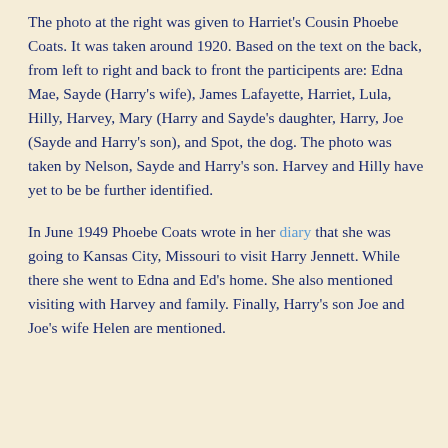The photo at the right was given to Harriet's Cousin Phoebe Coats. It was taken around 1920. Based on the text on the back, from left to right and back to front the participents are: Edna Mae, Sayde (Harry's wife), James Lafayette, Harriet, Lula, Hilly, Harvey, Mary (Harry and Sayde's daughter, Harry, Joe (Sayde and Harry's son), and Spot, the dog. The photo was taken by Nelson, Sayde and Harry's son. Harvey and Hilly have yet to be be further identified.
In June 1949 Phoebe Coats wrote in her diary that she was going to Kansas City, Missouri to visit Harry Jennett. While there she went to Edna and Ed's home. She also mentioned visiting with Harvey and family. Finally, Harry's son Joe and Joe's wife Helen are mentioned.